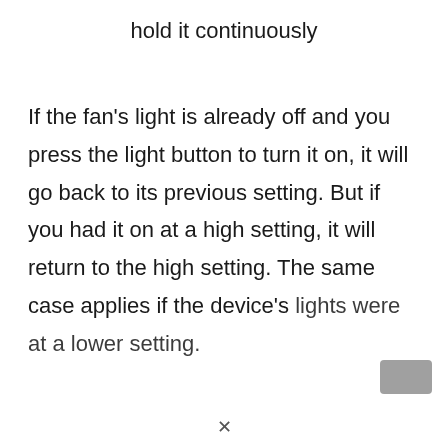hold it continuously
If the fan's light is already off and you press the light button to turn it on, it will go back to its previous setting. But if you had it on at a high setting, it will return to the high setting. The same case applies if the device's lights were at a lower setting.